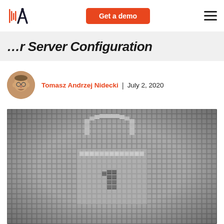Get a demo
...r Server Configuration
Tomasz Andrzej Nidecki | July 2, 2020
[Figure (photo): Close-up photo of a pixelated/mosaic lock icon made of gray rectangular tiles, suggesting digital security or server configuration.]